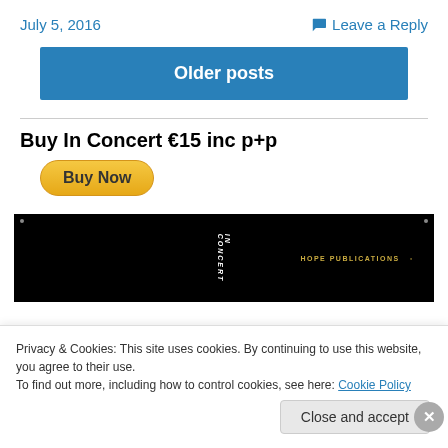July 5, 2016    Leave a Reply
Older posts
Buy In Concert €15 inc p+p
[Figure (screenshot): Black banner image showing 'IN CONCERT' text vertically and 'HOPE PUBLICATIONS' text with logo on the right]
Privacy & Cookies: This site uses cookies. By continuing to use this website, you agree to their use.
To find out more, including how to control cookies, see here: Cookie Policy
Close and accept